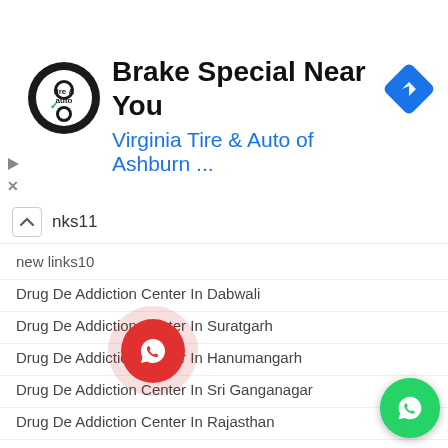[Figure (screenshot): Advertisement banner for Virginia Tire & Auto of Ashburn with logo and navigation icon]
nks11
new links10
Drug De Addiction Center In Dabwali
Drug De Addiction Center In Suratgarh
Drug De Addiction Center In Hanumangarh
Drug De Addiction Center In Sri Ganganagar
Drug De Addiction Center In Rajasthan
Drug De Addiction Center In Baran
Drug De Addiction Center In Pushkar
Drug De Addiction Center In Chittorgarh